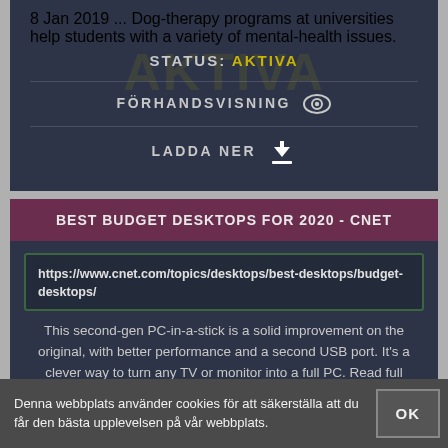8 Jan 2019 ... Dog-therapy programs at universities help students with a variety of mental-health issues.
STATUS: AKTIVA
FÖRHANDSVISNING
LADDA NER
BEST BUDGET DESKTOPS FOR 2020 - CNET
https://www.cnet.com/topics/desktops/best-desktops/budget-desktops/
This second-gen PC-in-a-stick is a solid improvement on the original, with better performance and a second USB port. It's a clever way to turn any TV or monitor into a full PC. Read full review ...
STATUS: AKTIVA
Denna webbplats använder cookies för att säkerställa att du får den bästa upplevelsen på vår webbplats.
OK